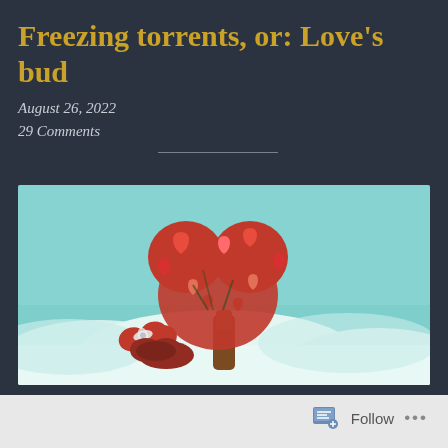Freezing torrents, or: Love's bud
August 26, 2022
29 Comments
[Figure (illustration): 3D rendered illustration of a heart-shaped tree made of red hearts and roses, with a brown trunk, standing in a snowy white landscape with a teal/mint sky. An open red heart-shaped gift box with a white bow sits at the base of the tree.]
Follow